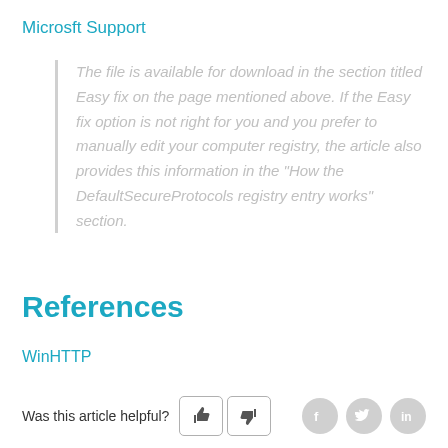Microsft Support
The file is available for download in the section titled Easy fix on the page mentioned above. If the Easy fix option is not right for you and you prefer to manually edit your computer registry, the article also provides this information in the "How the DefaultSecureProtocols registry entry works" section.
References
WinHTTP
Was this article helpful?